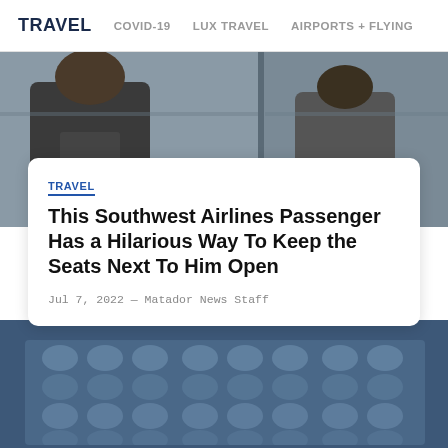TRAVEL   COVID-19   LUX TRAVEL   AIRPORTS + FLYING
[Figure (photo): Airplane passengers sitting in seats, viewed from the side, partial torsos visible]
TRAVEL
This Southwest Airlines Passenger Has a Hilarious Way To Keep the Seats Next To Him Open
Jul 7, 2022 — Matador News Staff
[Figure (photo): Airplane interior showing rows of seats with a blue/steel color scheme, viewed from above or at an angle]